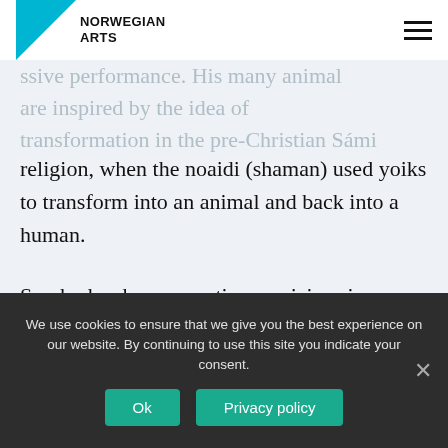NORWEGIAN ARTS
ssive performance. His many animal
are inspired by the idea of
transformation in the pre-Christian Sámi
religion, when the noaidi (shaman) used yoiks to transform into an animal and back into a human.
Somby has been an active musician since 1976 and has performed for royalty, heads of state and at the funeral of Sex Pistols manager Malcolm McLaren. In addition, beside his work as a musician, Somby is also a professor
We use cookies to ensure that we give you the best experience on our website. By continuing to use this site you indicate your consent.